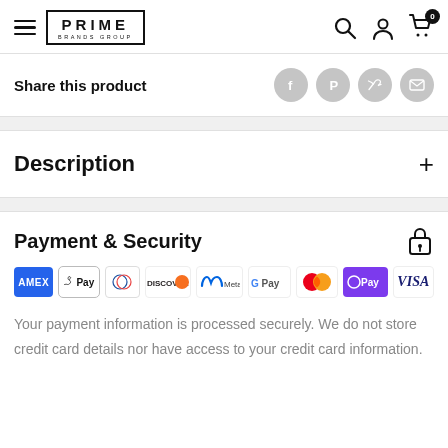Prime Brands Group — navigation header with hamburger menu, logo, search, account, and cart icons
Share this product
Description
Payment & Security
[Figure (infographic): Row of payment method logos: AMEX, Apple Pay, Diners Club, Discover, Meta Pay, Google Pay, Mastercard, OPay, VISA]
Your payment information is processed securely. We do not store credit card details nor have access to your credit card information.